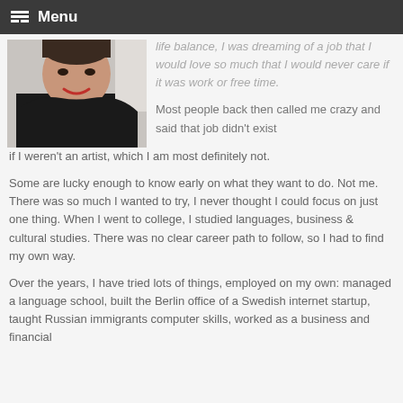Menu
[Figure (photo): Portrait photo of a woman in a black top, smiling, with short dark hair, against a light background.]
life-balance, I was dreaming of a job that I would love so much that I would never care if it was work or free time.
Most people back then called me crazy and said that job didn't exist if I weren't an artist, which I am most definitely not.
Some are lucky enough to know early on what they want to do. Not me. There was so much I wanted to try, I never thought I could focus on just one thing. When I went to college, I studied languages, business & cultural studies. There was no clear career path to follow, so I had to find my own way.
Over the years, I have tried lots of things, employed on my own: managed a language school, built the Berlin office of a Swedish internet startup, taught Russian immigrants computer skills, worked as a business and financial